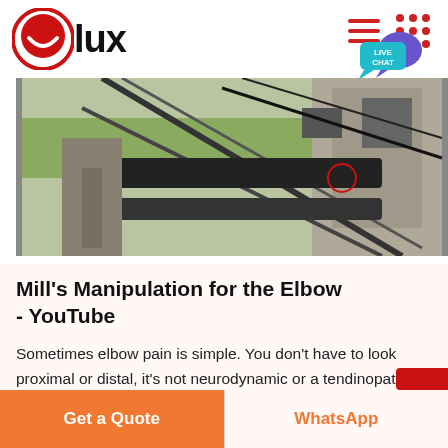[Figure (logo): Olux logo: red circle with white smile arc, text 'lux' in bold black]
[Figure (photo): Industrial conveyor belt machinery at a quarry or mining site, with concrete structures and steel frames]
Mill's Manipulation for the Elbow - YouTube
Sometimes elbow pain is simple. You don't have to look proximal or distal, it's not neurodynamic or a tendinopathy. If there is a lack of passive extension
Get a Quote
WhatsApp